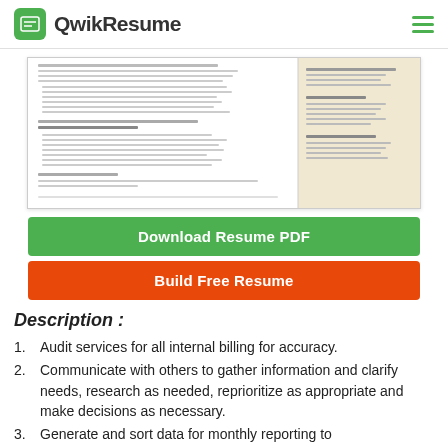QwikResume
[Figure (screenshot): A resume document preview showing a physical therapy resume with work experience, skills, and education sections in two-column layout.]
Download Resume PDF
Build Free Resume
Description :
Audit services for all internal billing for accuracy.
Communicate with others to gather information and clarify needs, research as needed, reprioritize as appropriate and make decisions as necessary.
Generate and sort data for monthly reporting to